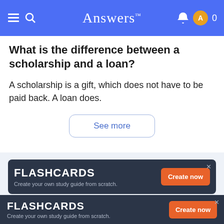Answers™  0
What is the difference between a scholarship and a loan?
A scholarship is a gift, which does not have to be paid back. A loan does.
See more
[Figure (other): FLASHCARDS advertisement banner: 'Create your own study guide from scratch.' with orange 'Create now' button on dark navy background]
[Figure (other): FLASHCARDS bottom advertisement bar: 'Create your own study guide from scratch.' with orange 'Create now' button on dark navy background]